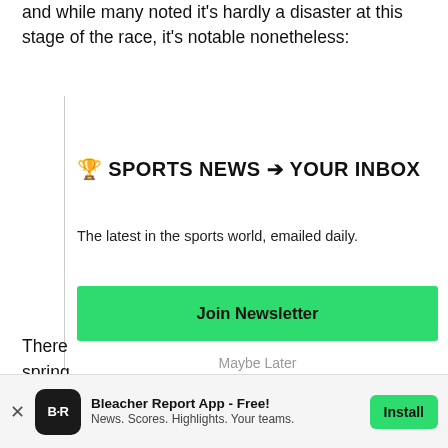and while many noted it's hardly a disaster at this stage of the race, it's notable nonetheless:
[Figure (infographic): Newsletter signup widget with headline '🏆 SPORTS NEWS ➡ YOUR INBOX', subtext 'The latest in the sports world, emailed daily.', a green 'Join Newsletter' button, and a 'Maybe Later' link]
There
spring
classif
[Figure (infographic): App download banner for Bleacher Report App with icon showing 'B/R', text 'Bleacher Report App - Free! News. Scores. Highlights. Your teams.' and an 'Install' green button, with a close X on the left]